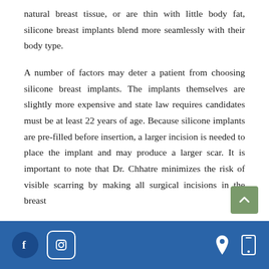natural breast tissue, or are thin with little body fat, silicone breast implants blend more seamlessly with their body type.

A number of factors may deter a patient from choosing silicone breast implants. The implants themselves are slightly more expensive and state law requires candidates must be at least 22 years of age. Because silicone implants are pre-filled before insertion, a larger incision is needed to place the implant and may produce a larger scar. It is important to note that Dr. Chhatre minimizes the risk of visible scarring by making all surgical incisions in the breast
Facebook | Instagram | Location | Mobile